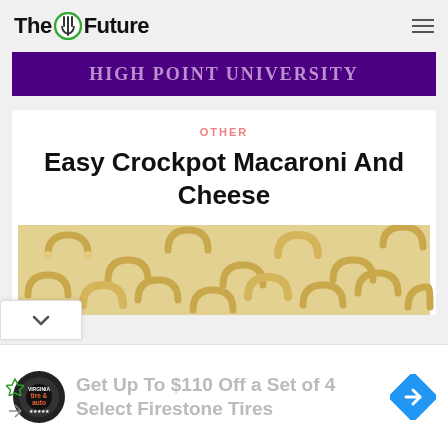The Future
[Figure (photo): High Point University banner in purple with white serif text, partially cropped at top]
OTHER
Easy Crockpot Macaroni And Cheese
[Figure (photo): Close-up photo of uncooked elbow macaroni pasta, pale yellow, filling the frame]
Get Up To $110 Off a Set of 4 Select Firestone Tires